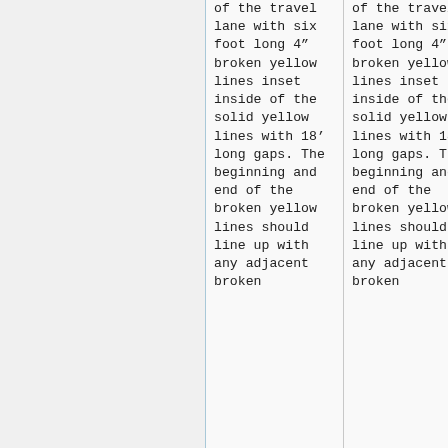of the travel lane with six foot long 4″ broken yellow lines inset inside of the solid yellow lines with 18' long gaps. The beginning and end of the broken yellow lines should line up with any adjacent broken
of the travel lane with six foot long 4″ broken yellow lines inset inside of the solid yellow lines with 18' long gaps. The beginning and end of the broken yellow lines should line up with any adjacent broken